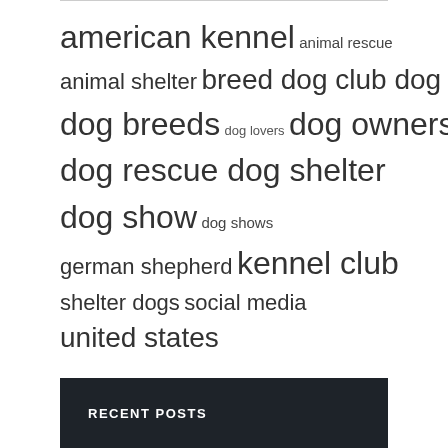american kennel animal rescue animal shelter breed dog club dog dog breeds dog lovers dog owners dog rescue dog shelter dog show dog shows german shepherd kennel club shelter dogs social media united states
RECENT POSTS